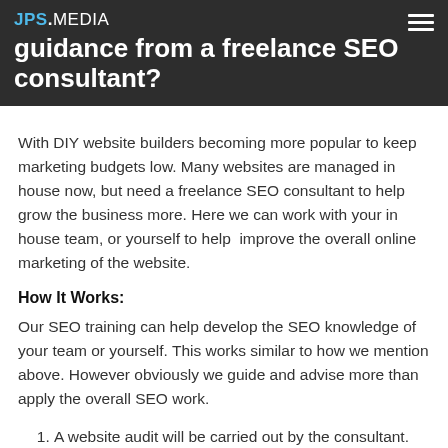guidance from a freelance SEO consultant?
With DIY website builders becoming more popular to keep marketing budgets low. Many websites are managed in house now, but need a freelance SEO consultant to help grow the business more. Here we can work with your in house team, or yourself to help  improve the overall online marketing of the website.
How It Works:
Our SEO training can help develop the SEO knowledge of your team or yourself. This works similar to how we mention above. However obviously we guide and advise more than apply the overall SEO work.
A website audit will be carried out by the consultant.